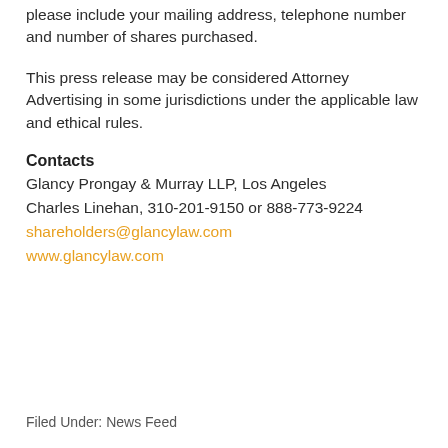please include your mailing address, telephone number and number of shares purchased.
This press release may be considered Attorney Advertising in some jurisdictions under the applicable law and ethical rules.
Contacts
Glancy Prongay & Murray LLP, Los Angeles
Charles Linehan, 310-201-9150 or 888-773-9224
shareholders@glancylaw.com
www.glancylaw.com
Filed Under: News Feed